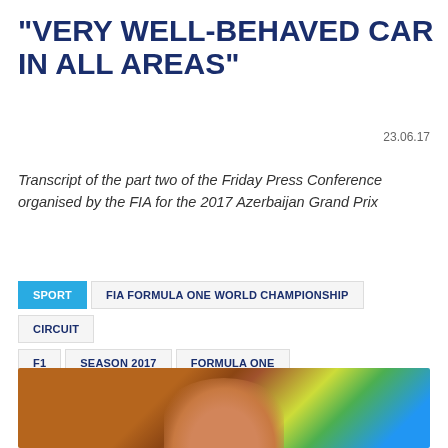"VERY WELL-BEHAVED CAR IN ALL AREAS"
23.06.17
Transcript of the part two of the Friday Press Conference organised by the FIA for the 2017 Azerbaijan Grand Prix
SPORT | FIA FORMULA ONE WORLD CHAMPIONSHIP | CIRCUIT | F1 | SEASON 2017 | FORMULA ONE | AZERBAIJAN GRAND PRIX
[Figure (photo): Close-up photo of a person's head/face with a blurred colorful background featuring green and blue tones]